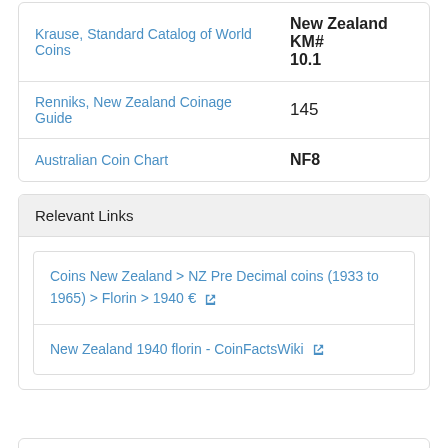| Reference | Value |
| --- | --- |
| Krause, Standard Catalog of World Coins | New Zealand KM# 10.1 |
| Renniks, New Zealand Coinage Guide | 145 |
| Australian Coin Chart | NF8 |
Relevant Links
Coins New Zealand > NZ Pre Decimal coins (1933 to 1965) > Florin > 1940  € ↗
New Zealand 1940 florin - CoinFactsWiki ↗